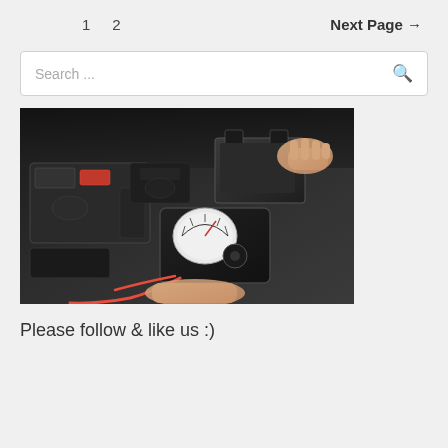1   2   Next Page →
Search ...
[Figure (photo): A mechanic holding a multimeter/voltmeter with red test leads near a car battery under an open hood. Another hand is visible gripping the battery terminal. The engine bay is visible in the background.]
Please follow & like us :)